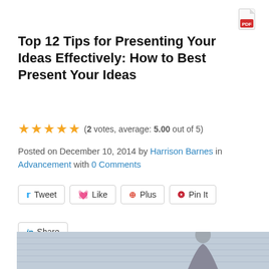[Figure (other): PDF icon in top right corner]
Top 12 Tips for Presenting Your Ideas Effectively: How to Best Present Your Ideas
(2 votes, average: 5.00 out of 5)
Posted on December 10, 2014 by Harrison Barnes in Advancement with 0 Comments
Tweet | Like | Plus | Pin It | Share (social share buttons)
Post Views 2089
[Figure (photo): Partial photo of a man in a suit at bottom of page]